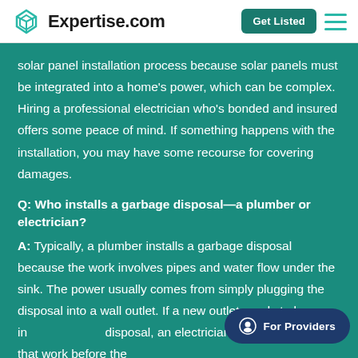Expertise.com — Get Listed
solar panel installation process because solar panels must be integrated into a home's power, which can be complex. Hiring a professional electrician who's bonded and insured offers some peace of mind. If something happens with the installation, you may have some recourse for covering damages.
Q: Who installs a garbage disposal—a plumber or electrician?
A: Typically, a plumber installs a garbage disposal because the work involves pipes and water flow under the sink. The power usually comes from simply plugging the disposal into a wall outlet. If a new outlet needs to be installed for the disposal, an electrician can be hired to do that work before the